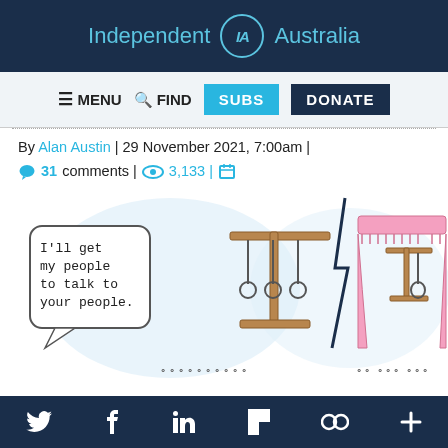Independent IA Australia
≡ MENU  🔍 FIND  SUBS  DONATE
By Alan Austin | 29 November 2021, 7:00am | 31 comments | 3,133 |
[Figure (illustration): Cartoon illustration showing two panels: left panel has a speech bubble saying 'I'll get my people to talk to your people.' next to a gallows with three noose ropes; right panel shows a theatre stage with pink curtains and a single gallows with one noose.]
Twitter  Facebook  LinkedIn  Flipboard  Loops  More